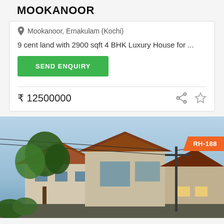MOOKANOOR
Mookanoor, Ernakulam (Kochi)
9 cent land with 2900 sqft 4 BHK Luxury House for ...
SEND ENQUIRY
₹ 12500000
[Figure (photo): Exterior photo of a two-storey luxury house with terracotta roof tiles, palm trees, and warm evening lighting. An orange badge reading RH-188 is visible in the top-right corner.]